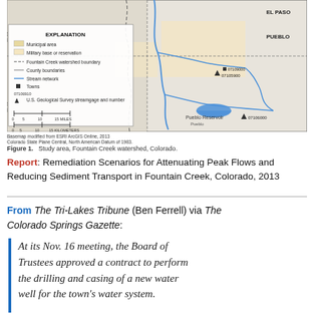[Figure (map): Map of Fountain Creek watershed study area in Colorado, showing municipal areas, military base or reservation, Fountain Creek watershed boundary, county boundaries, stream network, towns, and USGS streamgage locations. Labels include El Paso, Pueblo, Pueblo Reservoir, and various streamgage numbers. Scale bar and explanation legend included.]
Basemap modified from ESRI ArcGIS Online, 2013
Colorado State Plane Central, North American Datum of 1983.
Figure 1.   Study area, Fountain Creek watershed, Colorado.
Report: Remediation Scenarios for Attenuating Peak Flows and Reducing Sediment Transport in Fountain Creek, Colorado, 2013
From The Tri-Lakes Tribune (Ben Ferrell) via The Colorado Springs Gazette:
At its Nov. 16 meeting, the Board of Trustees approved a contract to perform the drilling and casing of a new water well for the town's water system.